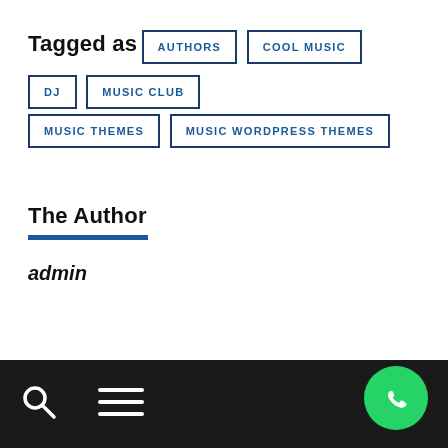Tagged as
AUTHORS
COOL MUSIC
DJ
MUSIC CLUB
MUSIC THEMES
MUSIC WORDPRESS THEMES
The Author
admin